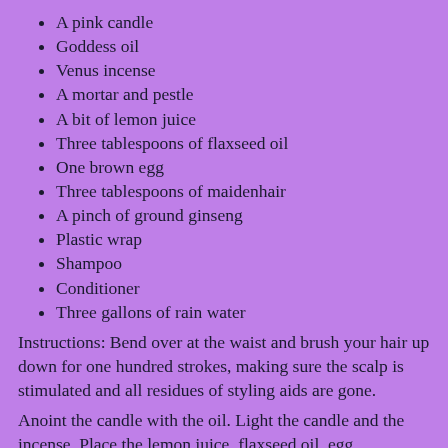A pink candle
Goddess oil
Venus incense
A mortar and pestle
A bit of lemon juice
Three tablespoons of flaxseed oil
One brown egg
Three tablespoons of maidenhair
A pinch of ground ginseng
Plastic wrap
Shampoo
Conditioner
Three gallons of rain water
Instructions: Bend over at the waist and brush your hair up down for one hundred strokes, making sure the scalp is stimulated and all residues of styling aids are gone.
Anoint the candle with the oil. Light the candle and the incense. Place the lemon juice, flaxseed oil, egg, maidenhair and ginseng in the mortar, and grind with the pestle until the potion is gooey.